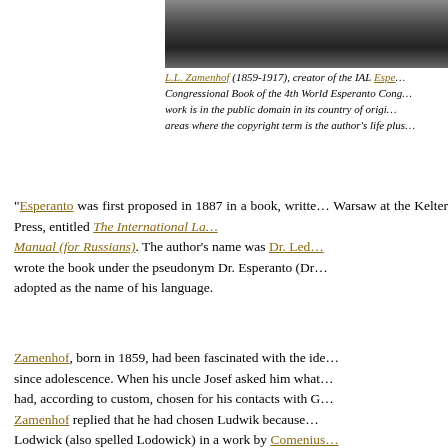[Figure (photo): Black and white photograph of L.L. Zamenhof, partially visible at top of page]
L.L. Zamenhof (1859-1917), creator of the IAL Espe... Congressional Book of the 4th World Esperanto Cong... work is in the public domain in its country of origi... areas where the copyright term is the author's life plus
"Esperanto was first proposed in 1887 in a book, writte... Warsaw at the Kelter Press, entitled The International La... Manual (for Russians). The author's name was Dr. Led... wrote the book under the pseudonym Dr. Esperanto (Dr... adopted as the name of his language.
Zamenhof, born in 1859, had been fascinated with the ide... since adolescence. When his uncle Josef asked him what... had, according to custom, chosen for his contacts with G... Zamenhof replied that he had chosen Ludwik because... Lodwick (also spelled Lodowick) in a work by Comenius... Lamberti 1990: 49).